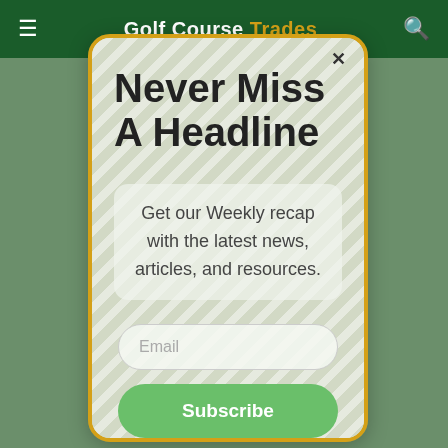Golf Course Trades
[Figure (screenshot): Email newsletter subscription modal popup on Golf Course Trades website with diagonal stripe background pattern, gold border, headline 'Never Miss A Headline', descriptive text, email input field, and Subscribe button]
Never Miss A Headline
Get our Weekly recap with the latest news, articles, and resources.
Email
Subscribe